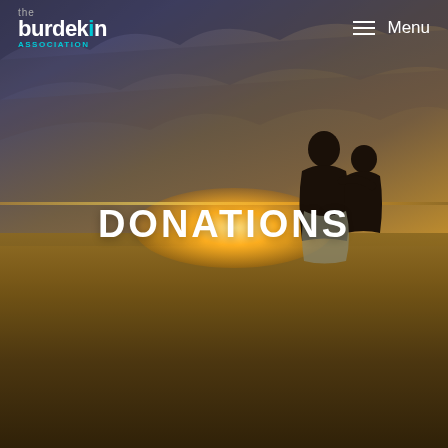[Figure (photo): Hero image of two silhouetted figures sitting together on a beach at sunset, with dramatic cloudy sky and warm golden light on the horizon. The image is overlaid with the text DONATIONS.]
the burdekin association  Menu
DONATIONS